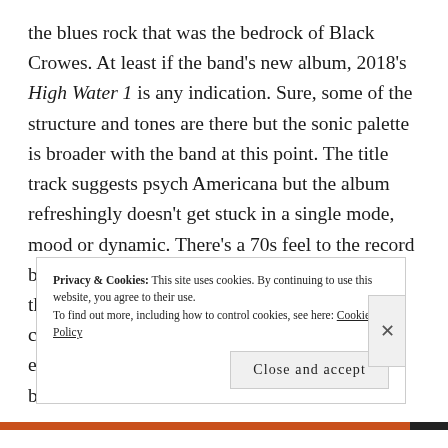the blues rock that was the bedrock of Black Crowes. At least if the band's new album, 2018's High Water 1 is any indication. Sure, some of the structure and tones are there but the sonic palette is broader with the band at this point. The title track suggests psych Americana but the album refreshingly doesn't get stuck in a single mode, mood or dynamic. There's a 70s feel to the record but one that gives you a greater appreciation for the details that make that songwriting style compelling even today even if you're heard enough of that sort of thing. Robinson and his bandmates grew up with and
Privacy & Cookies: This site uses cookies. By continuing to use this website, you agree to their use. To find out more, including how to control cookies, see here: Cookie Policy
Close and accept